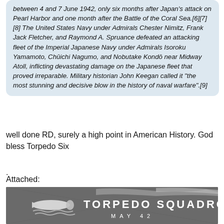between 4 and 7 June 1942, only six months after Japan's attack on Pearl Harbor and one month after the Battle of the Coral Sea.[6][7][8] The United States Navy under Admirals Chester Nimitz, Frank Jack Fletcher, and Raymond A. Spruance defeated an attacking fleet of the Imperial Japanese Navy under Admirals Isoroku Yamamoto, Chūichi Nagumo, and Nobutake Kondō near Midway Atoll, inflicting devastating damage on the Japanese fleet that proved irreparable. Military historian John Keegan called it "the most stunning and decisive blow in the history of naval warfare".[9]
well done RD, surely a high point in American History. God bless Torpedo Six
.
Attached:
[Figure (photo): Black and white photograph showing the insignia or emblem of Torpedo Squadron Six with text reading 'TORPEDO SQUADRON SIX' and 'MAY 42' along with a torpedo graphic and wing design.]